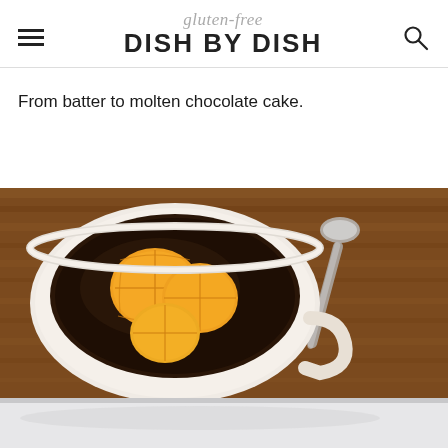gluten-free DISH BY DISH
From batter to molten chocolate cake.
[Figure (photo): A white ceramic mug/bowl filled with molten chocolate cake topped with mandarin orange segments and chocolate shavings, on a wooden table with a spoon in the background]